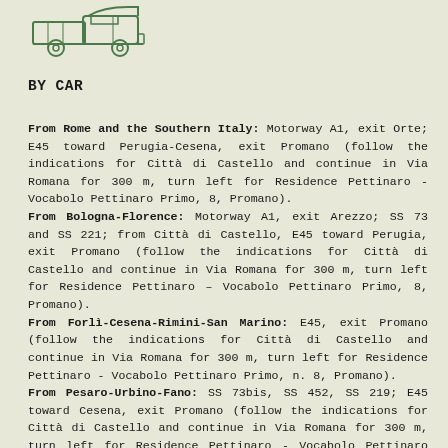[Figure (illustration): Green outline illustration of a car/truck vehicle icon]
BY CAR
From Rome and the Southern Italy: Motorway A1, exit Orte; E45 toward Perugia-Cesena, exit Promano (follow the indications for Città di Castello and continue in Via Romana for 300 m, turn left for Residence Pettinaro - Vocabolo Pettinaro Primo, 8, Promano). From Bologna-Florence: Motorway A1, exit Arezzo; SS 73 and SS 221; from Città di Castello, E45 toward Perugia, exit Promano (follow the indications for Città di Castello and continue in Via Romana for 300 m, turn left for Residence Pettinaro – Vocabolo Pettinaro Primo, 8, Promano). From Forlì-Cesena-Rimini-San Marino: E45, exit Promano (follow the indications for Città di Castello and continue in Via Romana for 300 m, turn left for Residence Pettinaro - Vocabolo Pettinaro Primo, n. 8, Promano). From Pesaro-Urbino-Fano: SS 73bis, SS 452, SS 219; E45 toward Cesena, exit Promano (follow the indications for Città di Castello and continue in Via Romana for 300 m, turn left for Residence Pettinaro - Vocabolo Pettinaro Primo, 8, Promano).